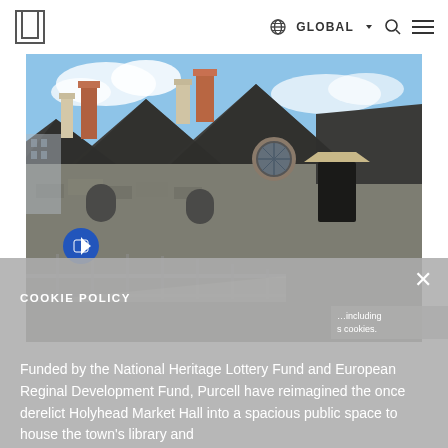GLOBAL
[Figure (photo): Photograph of a historic stone building with Gothic-style pointed gable roofs, red brick chimneys, dark slate roofing, round porthole window, and a modern metal ramp/railing in the foreground. Blue sky with clouds in background.]
COOKIE POLICY
Funded by the National Heritage Lottery Fund and European Reginal Development Fund, Purcell have reimagined the once derelict Holyhead Market Hall into a spacious public space to house the town's library and